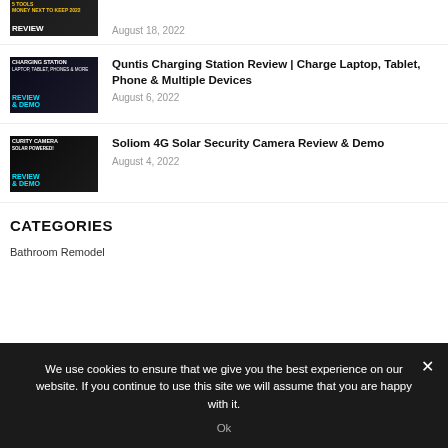[Figure (screenshot): Partially visible video thumbnail with REVIEW text in yellow/white on dark background]
August 18, 2022
[Figure (screenshot): Video thumbnail for Quntis Charging Station Review with REVIEW & DEMO text in cyan on dark background]
Quntis Charging Station Review | Charge Laptop, Tablet, Phone & Multiple Devices
August 6, 2022
[Figure (screenshot): Video thumbnail for Soliom 4G Solar Security Camera Review with REVIEW & DEMO text in cyan on dark background]
Soliom 4G Solar Security Camera Review & Demo
August 4, 2022
CATEGORIES
Bathroom Remodel
We use cookies to ensure that we give you the best experience on our website. If you continue to use this site we will assume that you are happy with it.
Ok